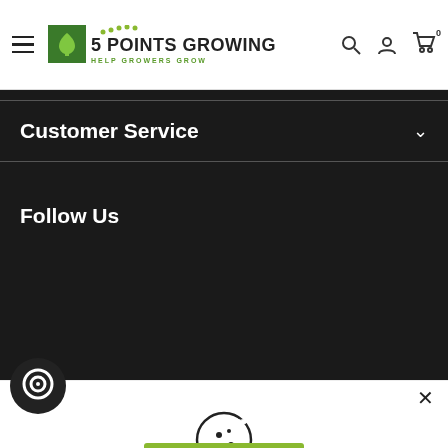5 POINTS GROWING — HELP GROWERS GROW
Customer Service
Follow Us
[Figure (illustration): Cookie consent icon — a cookie with bite taken out and dots]
This website uses cookies to ensure you get the best experience. Learn more
Decline
Accept